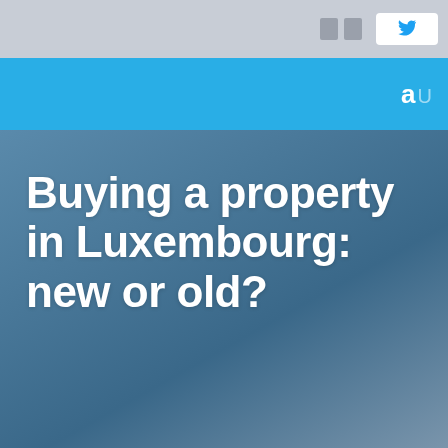Buying a property in Luxembourg: new or old?